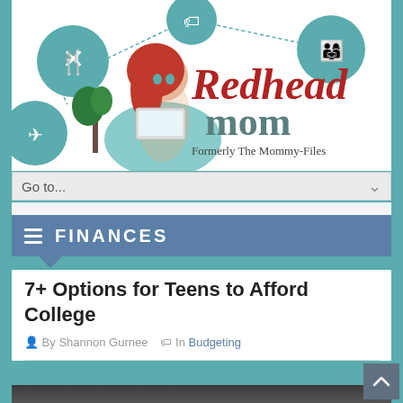[Figure (logo): Redhead Mom blog logo featuring an illustrated redhead woman sitting in a teal armchair using a laptop, surrounded by teal circular icons (food/utensils, shopping/tag, family, airplane/travel). Script text reads 'Redhead mom' in red and gray, with 'Formerly The Mommy-Files' below in serif font.]
Go to...
FINANCES
7+ Options for Teens to Afford College
By Shannon Gurnee  In Budgeting
[Figure (photo): Photo of teens or young people, partially visible at the bottom of the page, dark background.]